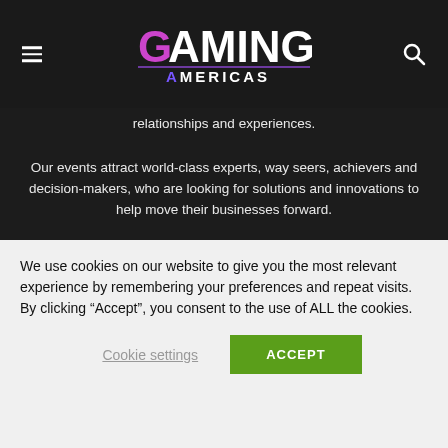Gaming Americas
relationships and experiences.
Our events attract world-class experts, way seers, achievers and decision-makers, who are looking for solutions and innovations to help move their businesses forward.
The official company (PROSHIRT SRL), has been listed for 4 years in a row among the top 3 Advertising and market research agencies in the local Top Business Romania Microcompanies based on its Financial Reports.
Contact us: sales@hipther.agency
We use cookies on our website to give you the most relevant experience by remembering your preferences and repeat visits. By clicking “Accept”, you consent to the use of ALL the cookies.